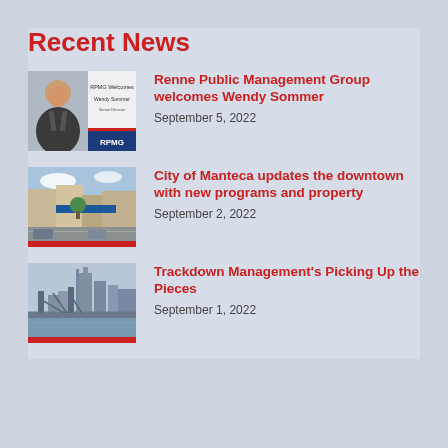Recent News
Renne Public Management Group welcomes Wendy Sommer
September 5, 2022
City of Manteca updates the downtown with new programs and property
September 2, 2022
Trackdown Management's Picking Up the Pieces
September 1, 2022